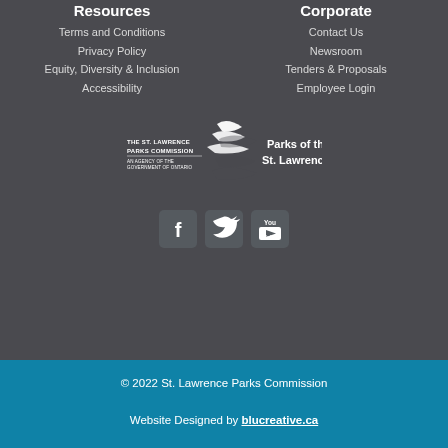Resources
Terms and Conditions
Privacy Policy
Equity, Diversity & Inclusion
Accessibility
Corporate
Contact Us
Newsroom
Tenders & Proposals
Employee Login
[Figure (logo): The St. Lawrence Parks Commission – An Agency of the Government of Ontario. Parks of the St. Lawrence logo with stylized bird/wave graphic in white.]
[Figure (infographic): Social media icons: Facebook, Twitter, YouTube]
© 2022 St. Lawrence Parks Commission
Website Designed by blucreative.ca